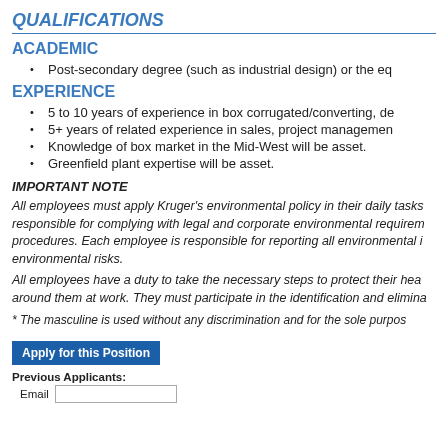QUALIFICATIONS
ACADEMIC
Post-secondary degree (such as industrial design) or the eq
EXPERIENCE
5 to 10 years of experience in box corrugated/converting, de
5+ years of related experience in sales, project managemen
Knowledge of box market in the Mid-West will be asset.
Greenfield plant expertise will be asset.
IMPORTANT NOTE
All employees must apply Kruger's environmental policy in their daily tasks responsible for complying with legal and corporate environmental requirem procedures. Each employee is responsible for reporting all environmental i environmental risks.
All employees have a duty to take the necessary steps to protect their hea around them at work. They must participate in the identification and elimina
* The masculine is used without any discrimination and for the sole purpos
Apply for this Position
Previous Applicants:
Email